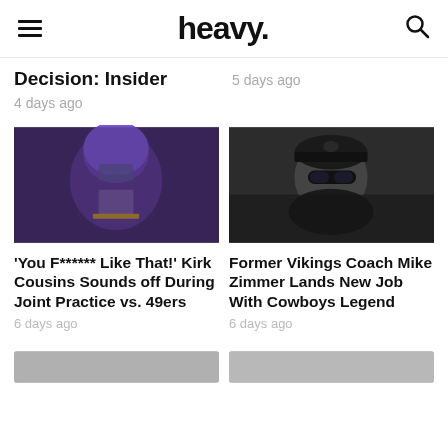heavy.
Decision: Insider
4 days ago
5 days ago
[Figure (photo): Kirk Cousins in Minnesota Vikings purple helmet and uniform during a game]
'You F****** Like That!' Kirk Cousins Sounds off During Joint Practice vs. 49ers
6 days ago
[Figure (photo): Former Vikings coach Mike Zimmer wearing sunglasses and a dark baseball cap]
Former Vikings Coach Mike Zimmer Lands New Job With Cowboys Legend
6 days ago